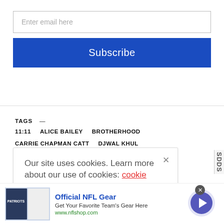[Figure (screenshot): Email input field with placeholder text 'Enter email here']
[Figure (screenshot): Blue Subscribe button]
TAGS — 11:11  ALICE BAILEY  BROTHERHOOD  CARRIE CHAPMAN CATT  DJWAL KHUL  HUMAN CONSCIOUSNESS  HUMANITARIANISM  LUCIS TRUST  PARKER J. PALME  SELF-HOOD  SISTERHOOD  TOLERANCE
Our site uses cookies. Learn more about our use of cookies: cookie policy
SDDS
[Figure (screenshot): Advertisement banner: Official NFL Gear - Get Your Favorite Team's Gear Here - www.nflshop.com]